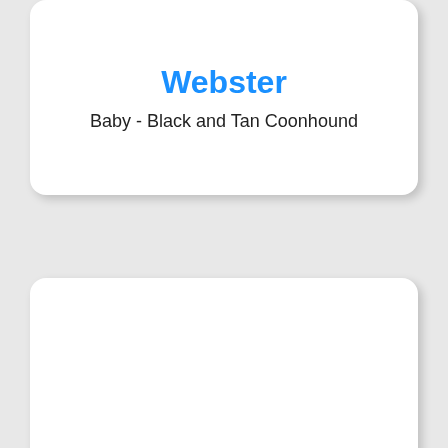Webster
Baby - Black and Tan Coonhound
Wren
Black and Tan Coonhound